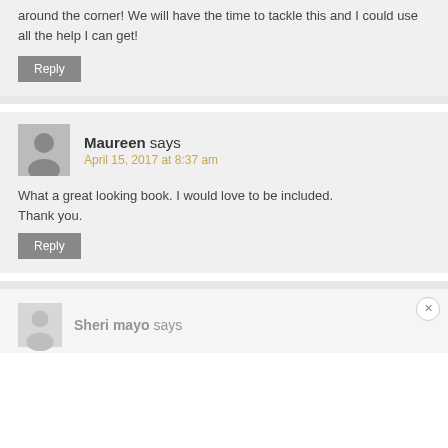around the corner! We will have the time to tackle this and I could use all the help I can get!
Reply
Maureen says
April 15, 2017 at 8:37 am
What a great looking book. I would love to be included.
Thank you.
Reply
Sheri mayo says